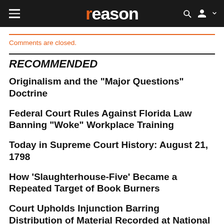reason
Comments are closed.
RECOMMENDED
Originalism and the "Major Questions" Doctrine
Federal Court Rules Against Florida Law Banning "Woke" Workplace Training
Today in Supreme Court History: August 21, 1798
How 'Slaughterhouse-Five' Became a Repeated Target of Book Burners
Court Upholds Injunction Barring Distribution of Material Recorded at National Abortion Federation Conference